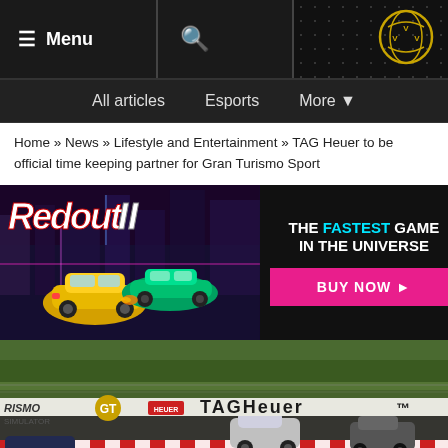☰ Menu  🔍  [VVV Logo]
All articles  Esports  More ▾
Home » News » Lifestyle and Entertainment » TAG Heuer to be official time keeping partner for Gran Turismo Sport
[Figure (screenshot): Redout II game advertisement banner. Left side shows Redout II logo and futuristic racing cars. Right side shows black background with text 'THE FASTEST GAME IN THE UNIVERSE' and a pink BUY NOW button.]
[Figure (screenshot): Gran Turismo Sport game screenshot showing racing cars on a track with TAG Heuer branding on the track barriers. A 'News' label is visible at the bottom left.]